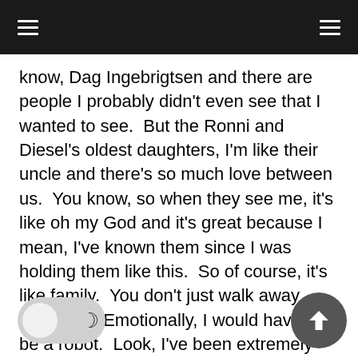know, Dag Ingebrigtsen and there are people I probably didn't even see that I wanted to see.  But the Ronni and Diesel's oldest daughters, I'm like their uncle and there's so much love between us.  You know, so when they see me, it's like oh my God and it's great because I mean, I've known them since I was holding them like this.  So of course, it's like family.  You don't just walk away from that.  Emotionally, I would have to be a robot.  Look, I've been extremely misunderstood and a lot of that is the cultural differences.  There's a huge cultural difference between Norwegians and Americans, but th kind of the thing that always brings people together in the end, but when I had a chance to step away, I was really able to appreciate the